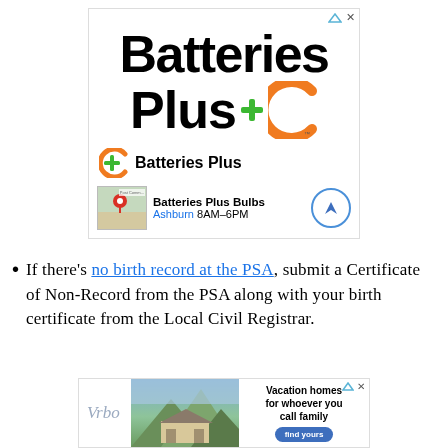[Figure (other): Batteries Plus advertisement banner with large bold 'Batteries Plus' text, orange arc logo with green plus sign, brand row showing logo and name, and a map thumbnail showing Batteries Plus Bulbs Ashburn 8AM-6PM location with navigation button]
If there's no birth record at the PSA, submit a Certificate of Non-Record from the PSA along with your birth certificate from the Local Civil Registrar.
[Figure (other): Vrbo vacation rentals advertisement with mountain house photo and tagline 'Vacation homes for whoever you call family' with a 'find yours' button]